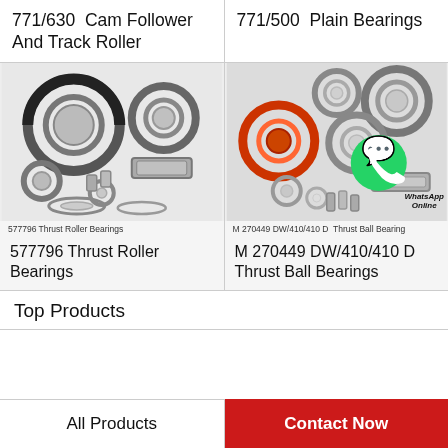771/630 Cam Follower And Track Roller
771/500 Plain Bearings
[Figure (photo): Multiple steel roller and thrust bearings of various sizes arranged on white background]
577796 Thrust Roller Bearings
[Figure (photo): Multiple ball bearings of various sizes with WhatsApp Online overlay badge]
M 270449 DW/410/410 D  Thrust Ball Bearings
577796 Thrust Roller Bearings
M 270449 DW/410/410 D Thrust Ball Bearings
Top Products
All Products
Contact Now